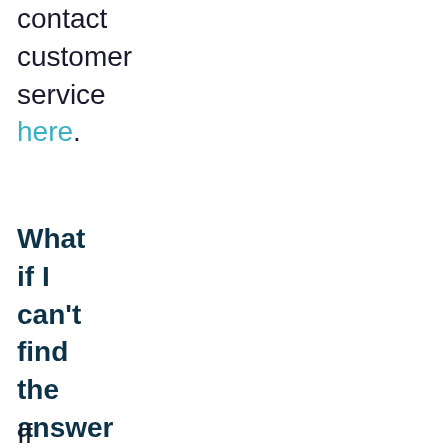contact customer service here.
What if I can't find the answer to my question here and I still need support?
If your